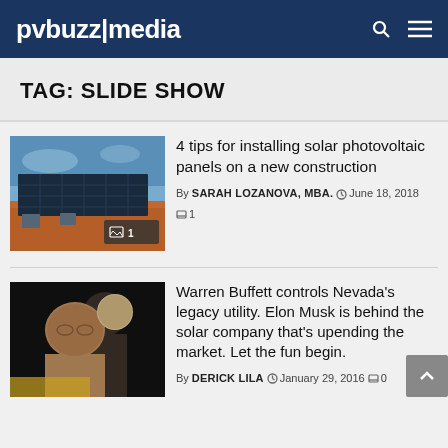pvbuzz|media
TAG: SLIDE SHOW
[Figure (photo): Solar photovoltaic panels on a rooftop with blue sky, with a slide badge showing '1']
4 tips for installing solar photovoltaic panels on a new construction
By SARAH LOZANOVA, MBA. June 18, 2018  1
[Figure (photo): Two men, one appears to be Warren Buffett and one Elon Musk composite/editorial photo]
Warren Buffett controls Nevada’s legacy utility. Elon Musk is behind the solar company that’s upending the market. Let the fun begin.
By DERICK LILA  January 29, 2016  0